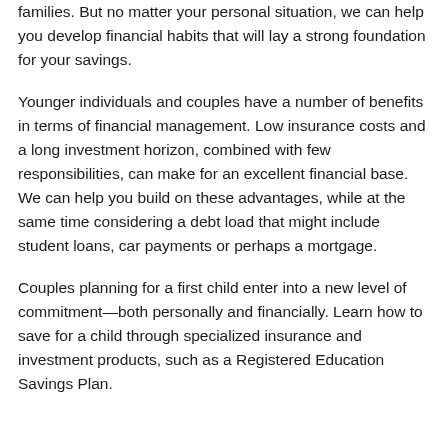families. But no matter your personal situation, we can help you develop financial habits that will lay a strong foundation for your savings.
Younger individuals and couples have a number of benefits in terms of financial management. Low insurance costs and a long investment horizon, combined with few responsibilities, can make for an excellent financial base. We can help you build on these advantages, while at the same time considering a debt load that might include student loans, car payments or perhaps a mortgage.
Couples planning for a first child enter into a new level of commitment—both personally and financially. Learn how to save for a child through specialized insurance and investment products, such as a Registered Education Savings Plan.